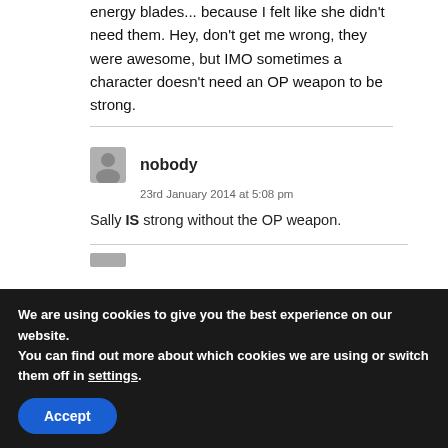energy blades... because I felt like she didn't need them. Hey, don't get me wrong, they were awesome, but IMO sometimes a character doesn't need an OP weapon to be strong.
nobody
23rd January 2014 at 5:08 pm
Sally IS strong without the OP weapon.
We are using cookies to give you the best experience on our website.
You can find out more about which cookies we are using or switch them off in settings.